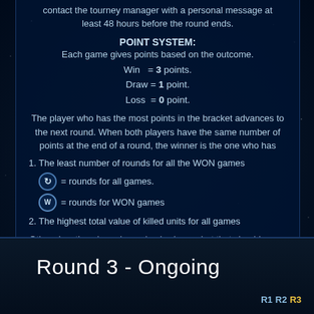contact the tourney manager with a personal message at least 48 hours before the round ends.
POINT SYSTEM:
Each game gives points based on the outcome.
Win = 3 points.
Draw = 1 point.
Loss = 0 point.
The player who has the most points in the bracket advances to the next round. When both players have the same number of points at the end of a round, the winner is the one who has
1. The least number of rounds for all the WON games
⟳ = rounds for all games.
W = rounds for WON games
2. The highest total value of killed units for all games
Otherwise, the winner is randomly chosen but that should never happen unless the participants did not make any move.
Round 3 - Ongoing
R1  R2  R3